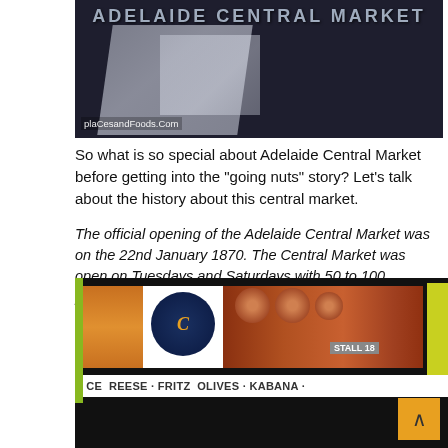[Figure (photo): Adelaide Central Market exterior sign with escalator/staircase visible, watermark 'plaCesandFoods.Com' in bottom left]
So what is so special about Adelaide Central Market before getting into the "going nuts" story? Let's talk about the history about this central market.
The official opening of the Adelaide Central Market was on the 22nd January 1870. The Central Market was open on Tuesdays and Saturdays with 50 to 100 produce carts. The market was recorded in history as having sold vegetables, fruit, hay, fish and game meats. Sourced from http://www.adelaidecentralmarket.com.au/
[Figure (photo): Interior of Adelaide Central Market showing a deli stall (Stall 18) with signs for CHEESE, FRITZ, OLIVES, KABANA and a logo, with market shoppers visible]